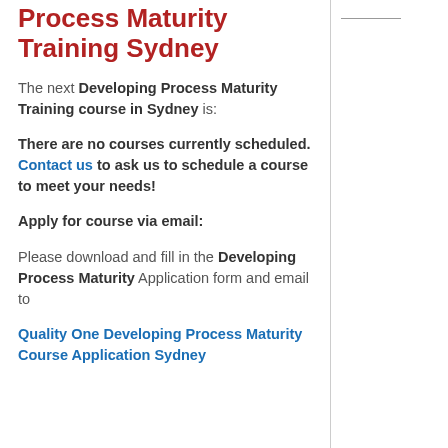Process Maturity Training Sydney
The next Developing Process Maturity Training course in Sydney is:
There are no courses currently scheduled. Contact us to ask us to schedule a course to meet your needs!
Apply for course via email:
Please download and fill in the Developing Process Maturity Application form and email to Quality One Developing Process Maturity Course Application Sydney